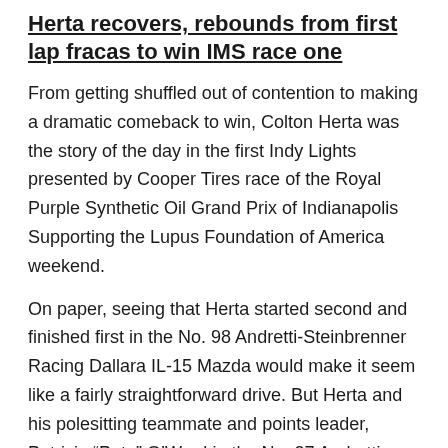Herta recovers, rebounds from first lap fracas to win IMS race one
From getting shuffled out of contention to making a dramatic comeback to win, Colton Herta was the story of the day in the first Indy Lights presented by Cooper Tires race of the Royal Purple Synthetic Oil Grand Prix of Indianapolis Supporting the Lupus Foundation of America weekend.
On paper, seeing that Herta started second and finished first in the No. 98 Andretti-Steinbrenner Racing Dallara IL-15 Mazda would make it seem like a fairly straightforward drive. But Herta and his polesitting teammate and points leader, Patricio “Pato” O’Ward in the No. 27 Andretti Autosport car, had a tougher race than they both anticipated.
Just past 1:30 p.m. ET, the command was given for the first of six Mazda Road to Indy presented by Cooper Tires races to take place at the Indianapolis Motor Speedway road course. The race was scheduled for 30 laps.